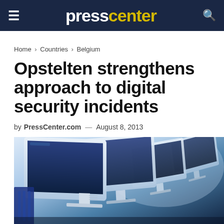presscenter
Home > Countries > Belgium
Opstelten strengthens approach to digital security incidents
by PressCenter.com — August 8, 2013
[Figure (photo): Row of computer monitors with blue-tinted screens arranged in a row, shot from a low angle with shallow depth of field]